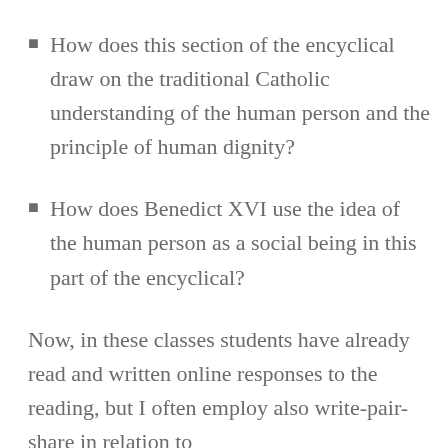How does this section of the encyclical draw on the traditional Catholic understanding of the human person and the principle of human dignity?
How does Benedict XVI use the idea of the human person as a social being in this part of the encyclical?
Now, in these classes students have already read and written online responses to the reading, but I often employ also write-pair-share in relation to